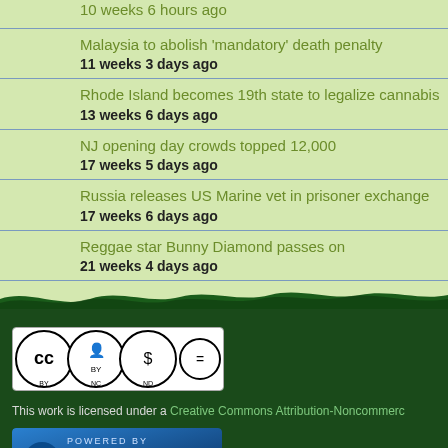Malaysia to abolish 'mandatory' death penalty
11 weeks 3 days ago
Rhode Island becomes 19th state to legalize cannabis
13 weeks 6 days ago
NJ opening day crowds topped 12,000
17 weeks 5 days ago
Russia releases US Marine vet in prisoner exchange
17 weeks 6 days ago
Reggae star Bunny Diamond passes on
21 weeks 4 days ago
[Figure (logo): Creative Commons BY-NC-ND license badge]
This work is licensed under a Creative Commons Attribution-Noncommercial
[Figure (logo): Powered by Drupal badge]